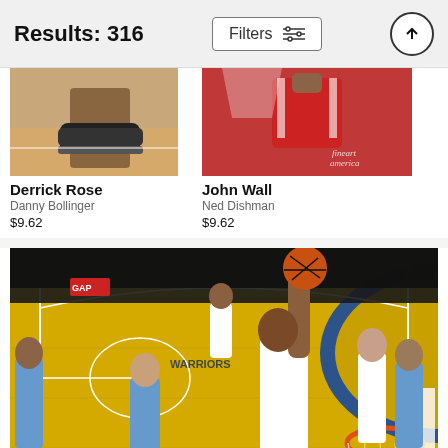Results: 316   Filters
[Figure (photo): Derrick Rose basketball action photo, cropped view of player near basket]
Derrick Rose
Danny Bollinger
$9.62
[Figure (photo): John Wall basketball action photo, player in red jersey near basket with fine art america watermark]
John Wall
Ned Dishman
$9.62
[Figure (photo): Kevin Durant Golden State Warriors basketball player going up for a dunk against Denver Nuggets, aerial view of court]